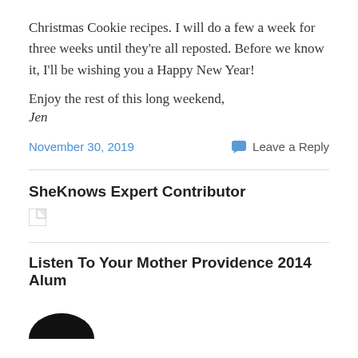Christmas Cookie recipes. I will do a few a week for three weeks until they’re all reposted. Before we know it, I’ll be wishing you a Happy New Year!
Enjoy the rest of this long weekend,
Jen
November 30, 2019
Leave a Reply
SheKnows Expert Contributor
[Figure (illustration): Broken image placeholder icon]
Listen To Your Mother Providence 2014 Alum
[Figure (photo): Circular avatar photo showing top of a dark-haired person's head]